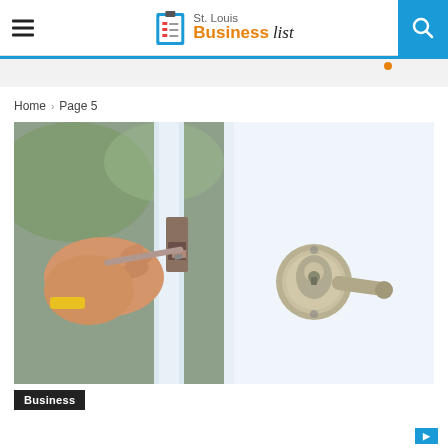St. Louis Business List — navigation header with hamburger menu and search icon
Home › Page 5
[Figure (photo): Close-up photo of a person's hand using a screwdriver to install or adjust a door lock mechanism (latch/bolt), with the finished brushed nickel door lever handle visible on the right side of the door.]
Business